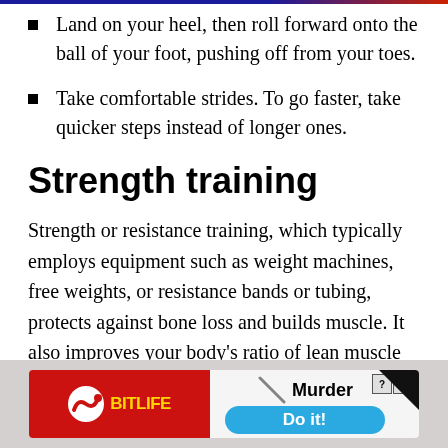Land on your heel, then roll forward onto the ball of your foot, pushing off from your toes.
Take comfortable strides. To go faster, take quicker steps instead of longer ones.
Strength training
Strength or resistance training, which typically employs equipment such as weight machines, free weights, or resistance bands or tubing, protects against bone loss and builds muscle. It also improves your body's ratio of lean muscle mass to fat. It, too, deserves an important place in your
[Figure (illustration): BitLife mobile game advertisement banner with red left section showing logo, and right section showing 'Murder Do it!' call to action button]